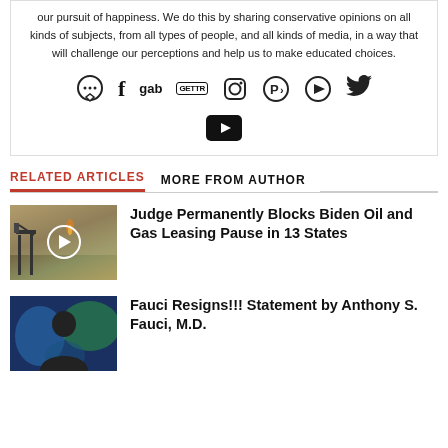our pursuit of happiness. We do this by sharing conservative opinions on all kinds of subjects, from all types of people, and all kinds of media, in a way that will challenge our perceptions and help us to make educated choices.
[Figure (infographic): Social media icons: speech bubble, Facebook, Gab, GETTR, Instagram, Parler, Rumble, Twitter, YouTube]
RELATED ARTICLES   MORE FROM AUTHOR
[Figure (photo): Oil pump jack in a field with smoke, video thumbnail with play button]
Judge Permanently Blocks Biden Oil and Gas Leasing Pause in 13 States
[Figure (photo): Anthony S. Fauci portrait photo]
Fauci Resigns!!! Statement by Anthony S. Fauci, M.D.